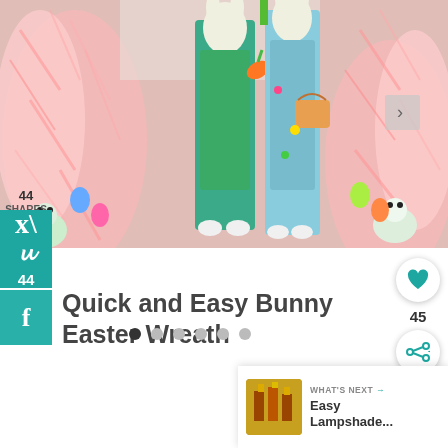[Figure (photo): Easter bunny decorative figures surrounded by pink feathery wreath decorations and colorful Easter eggs/bunnies. One bunny figure is teal/green wearing a green outfit holding a carrot, another is light blue holding an Easter basket.]
44
SHARES
44
f
Quick and Easy Bunny Easter Wreath
45
WHAT'S NEXT → Easy Lampshade...